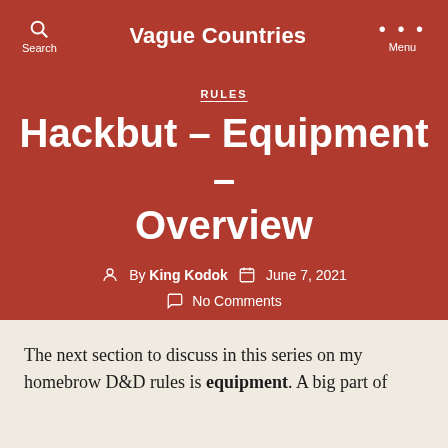Vague Countries
RULES
Hackbut – Equipment – Overview
By King Kodok   June 7, 2021
No Comments
The next section to discuss in this series on my homebrow D&D rules is equipment. A big part of